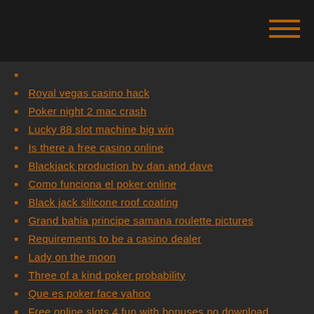Royal vegas casino hack
Poker night 2 mac crash
Lucky 88 slot machine big win
Is there a free casino online
Blackjack production by dan and dave
Como funciona el poker online
Black jack silicone roof coating
Grand bahia principe samana roulette pictures
Requirements to be a casino dealer
Lady on the moon
Three of a kind poker probability
Que es poker face yahoo
Free online slots 4 fun with bonuses no download